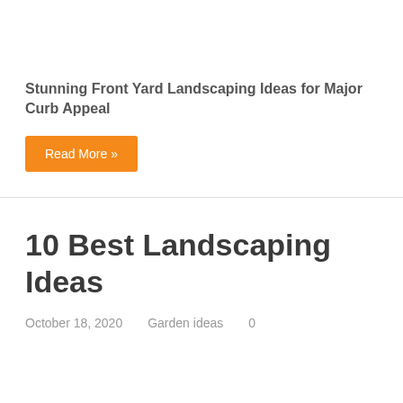Stunning Front Yard Landscaping Ideas for Major Curb Appeal
Read More »
10 Best Landscaping Ideas
October 18, 2020    Garden ideas    0